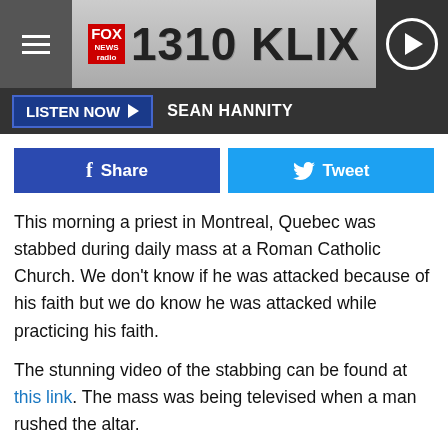FOX NEWS radio 1310 KLIX
LISTEN NOW ▶  SEAN HANNITY
Share  Tweet
This morning a priest in Montreal, Quebec was stabbed during daily mass at a Roman Catholic Church.  We don't know if he was attacked because of his faith but we do know he was attacked while practicing his faith.
The stunning video of the stabbing can be found at this link.  The mass was being televised when a man rushed the altar.
The priest is expected to recover, however.  This underscores my earlier argument.  Christians are attacked every day.  Sometimes one at a time and sometimes in large groups.